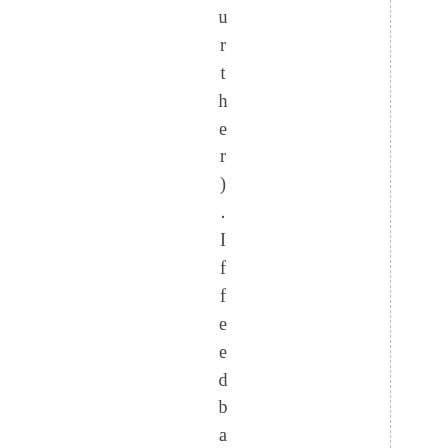urther). If feedbacks are ened